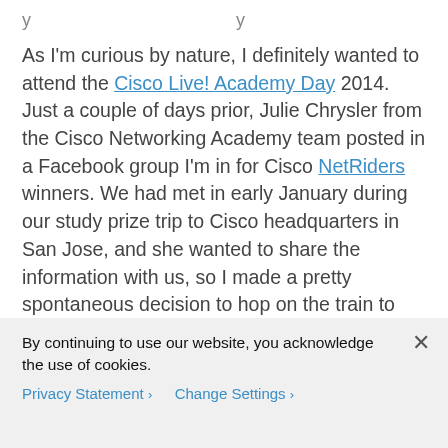y                                          y
As I'm curious by nature, I definitely wanted to attend the Cisco Live! Academy Day 2014. Just a couple of days prior, Julie Chrysler from the Cisco Networking Academy team posted in a Facebook group I'm in for Cisco NetRiders winners. We had met in early January during our study prize trip to Cisco headquarters in San Jose, and she wanted to share the information with us, so I made a pretty spontaneous decision to hop on the train to travel the 450km from my town Landeck in Austria to Milan, Italy! On Sunday I started in the morning, spent a couple of hours on the train and after some stops I finally
By continuing to use our website, you acknowledge the use of cookies.
Privacy Statement > Change Settings >